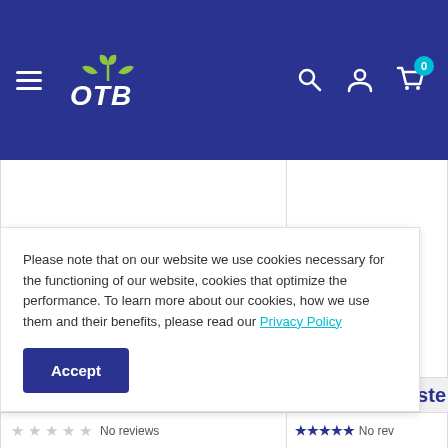[Figure (logo): OTB logo on dark blue navigation header with hamburger menu, search icon, user icon, and cart icon with badge showing 0]
Please note that on our website we use cookies necessary for the functioning of our website, cookies that optimize the performance. To learn more about our cookies, how we use them and their benefits, please read our Privacy Policy
Accept
No reviews